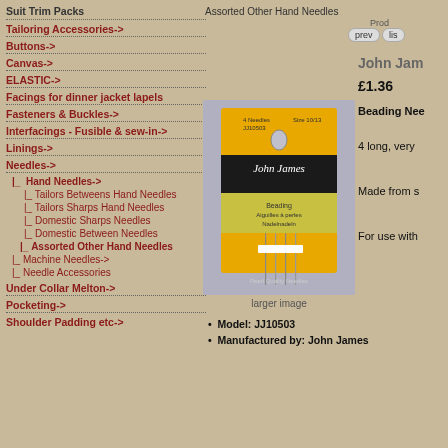Suit Trim Packs
Tailoring Accessories->
Buttons->
Canvas->
ELASTIC->
Facings for dinner jacket lapels
Fasteners & Buckles->
Interfacings - Fusible & sew-in->
Linings->
Needles->
|_  Hand Needles->
|_  Tailors Betweens Hand Needles
|_  Tailors Sharps Hand Needles
|_  Domestic Sharps Needles
|_  Domestic Between Needles
|_  Assorted Other Hand Needles
|_  Machine Needles->
|_  Needle Accessories
Under Collar Melton->
Pocketing->
Shoulder Padding etc->
Assorted Other Hand Needles
Prod
prev  lis
John Jam
£1.36
Beading Nee
4 long, very
Made from s
For use with
[Figure (photo): John James Beading Needles product package - yellow card with needles, Size 10/13, showing 4 long beading needles]
larger image
Model: JJ10503
Manufactured by: John James